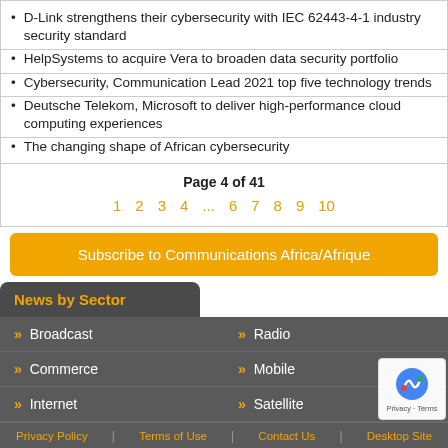D-Link strengthens their cybersecurity with IEC 62443-4-1 industry security standard
HelpSystems to acquire Vera to broaden data security portfolio
Cybersecurity, Communication Lead 2021 top five technology trends
Deutsche Telekom, Microsoft to deliver high-performance cloud computing experiences
The changing shape of African cybersecurity
Page 4 of 41
1  2  3  4  ...  6  7  8  9  10
Subscribe to Communications Africa/Afrique
News by Sector
Broadcast  Radio  Commerce  Mobile  Internet  Satellite
Privacy Policy | Terms of Use | Contact Us | Desktop Site